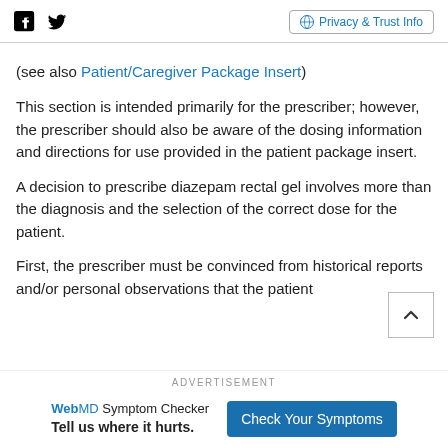Social icons: Facebook, Twitter | Privacy & Trust Info
(see also Patient/Caregiver Package Insert)
This section is intended primarily for the prescriber; however, the prescriber should also be aware of the dosing information and directions for use provided in the patient package insert.
A decision to prescribe diazepam rectal gel involves more than the diagnosis and the selection of the correct dose for the patient.
First, the prescriber must be convinced from historical reports and/or personal observations that the patient
ADVERTISEMENT
WebMD Symptom Checker
Tell us where it hurts. Check Your Symptoms